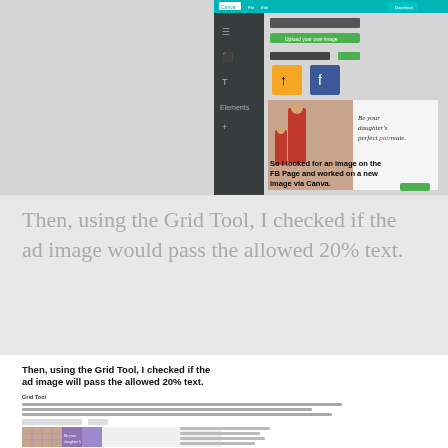[Figure (screenshot): Screenshot of Canva design tool interface showing a Facebook ad image with text 'Be your daughter's perfect pairmate.' and a caption 'So I looked for an image on the FB Page and worked on a new image via Canva.']
Then, using the Grid Tool, I checked if the ad image would pass the allowed 20% text.
[Figure (screenshot): Screenshot showing the Grid Tool webpage with bold text 'Then, using the Grid Tool, I checked if the ad image will pass the allowed 20% text.' and a demonstration of the grid tool applied to the fashion ad image.]